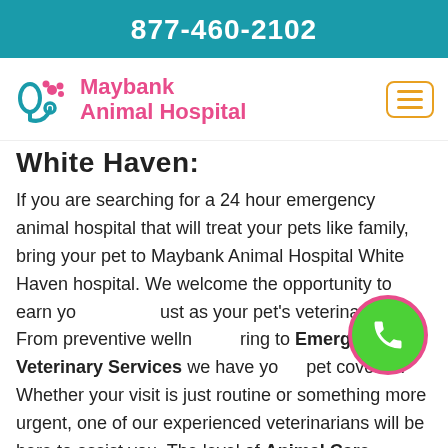877-460-2102
[Figure (logo): Maybank Animal Hospital logo with stethoscope and paw icon, pink text]
White Haven:
If you are searching for a 24 hour emergency animal hospital that will treat your pets like family, bring your pet to Maybank Animal Hospital White Haven hospital. We welcome the opportunity to earn your trust as your pet's veterinarian. From preventive wellness to Emergency Veterinary Services we have your pet covered. Whether your visit is just routine or something more urgent, one of our experienced veterinarians will be here to assist you. The level of Animal Care Services provided at Maybank Animal Hospital White Haven makes us a trustworthy facility for all of your pet's veterinary needs. We offer a range of services to help our pet live their best life. We are proud of our skilled veterinary team, they